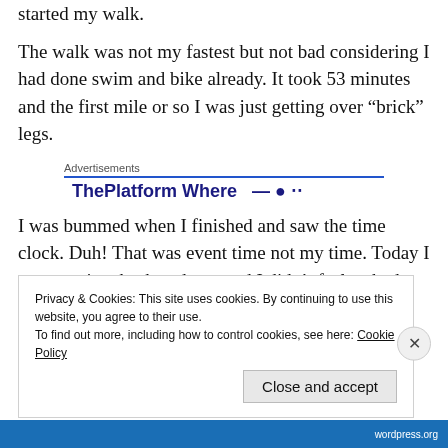started my walk.
The walk was not my fastest but not bad considering I had done swim and bike already. It took 53 minutes and the first mile or so I was just getting over “brick” legs.
[Figure (other): Advertisement box with label 'Advertisements' and blue underline, showing 'ThePlatform Where' in bold blue text with partial content cut off]
I was bummed when I finished and saw the time clock. Duh! That was event time not my time. Today I saw my time broken down and I didn’t feel so bad. Except for the swim, the rest
Privacy & Cookies: This site uses cookies. By continuing to use this website, you agree to their use.
To find out more, including how to control cookies, see here: Cookie Policy
Close and accept
wordpress.org